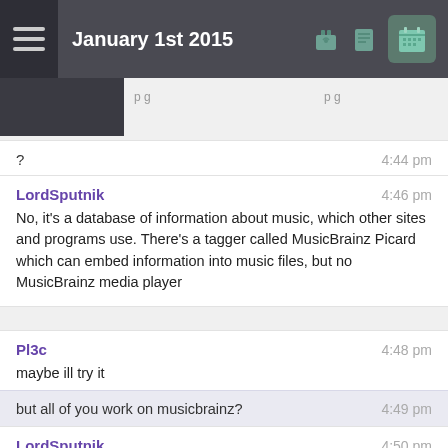January 1st 2015
? 4:44 pm
LordSputnik 4:46 pm
No, it's a database of information about music, which other sites and programs use. There's a tagger called MusicBrainz Picard which can embed information into music files, but no MusicBrainz media player
Pl3c 4:48 pm
maybe ill try it
but all of you work on musicbrainz? 4:49 pm
LordSputnik 4:50 pm
well there are only a couple of people who are paid, plus a few who volunteer, the rest of the people on the channel either work on related projects or are just interested :)